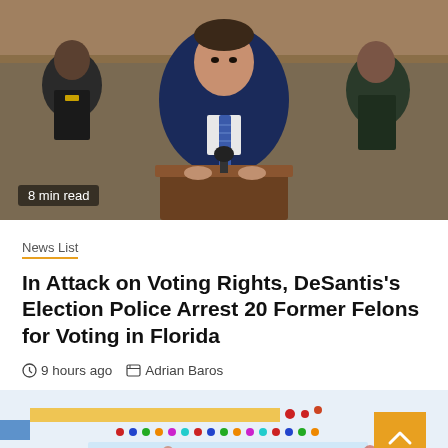[Figure (photo): A man in a dark blue suit and striped tie stands at a podium speaking, flanked by law enforcement officers in uniform. Indoor setting with wood paneling.]
8 min read
News List
In Attack on Voting Rights, DeSantis's Election Police Arrest 20 Former Felons for Voting in Florida
9 hours ago   Adrian Baros
[Figure (photo): Classroom scene with colorful educational materials, name tags, and handprints visible. Text reads 'Martin Geremas'.]